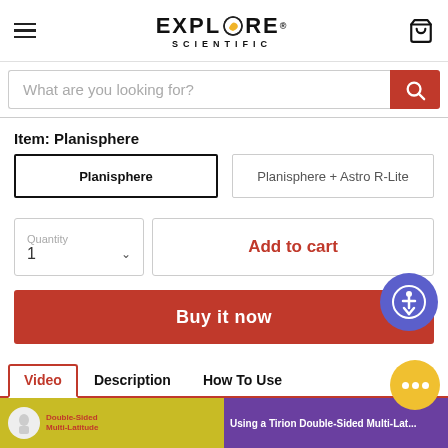[Figure (logo): Explore Scientific logo with hamburger menu and cart icon]
What are you looking for?
Item: Planisphere
Planisphere
Planisphere + Astro R-Lite
Quantity
1
Add to cart
Buy it now
Video
Description
How To Use
[Figure (screenshot): Video thumbnail: Double-Sided Multi-Latitude planisphere - Using a Tirion Double-Sided Multi-Lat...]